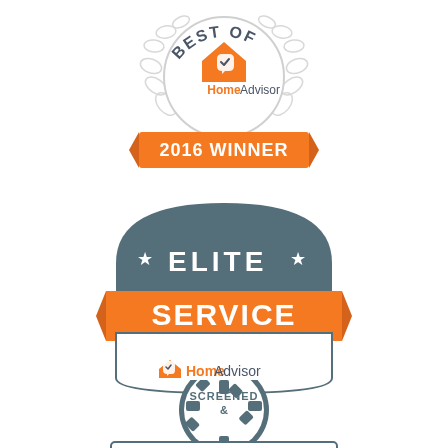[Figure (logo): HomeAdvisor Best Of 2016 Winner badge with laurel wreath, house icon, and orange ribbon banner]
[Figure (logo): HomeAdvisor Elite Service badge with grey shield top banner showing stars and ELITE text, orange SERVICE ribbon, and HomeAdvisor logo at bottom]
[Figure (logo): HomeAdvisor Screened & Approved badge with gear-border circle top and HomeAdvisor logo banner at bottom - partially visible]